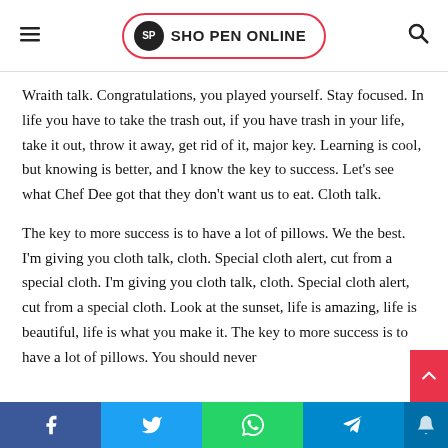SHO PEN ONLINE
Wraith talk. Congratulations, you played yourself. Stay focused. In life you have to take the trash out, if you have trash in your life, take it out, throw it away, get rid of it, major key. Learning is cool, but knowing is better, and I know the key to success. Let’s see what Chef Dee got that they don’t want us to eat. Cloth talk.
The key to more success is to have a lot of pillows. We the best. I’m giving you cloth talk, cloth. Special cloth alert, cut from a special cloth. I’m giving you cloth talk, cloth. Special cloth alert, cut from a special cloth. Look at the sunset, life is amazing, life is beautiful, life is what you make it. The key to more success is to have a lot of pillows. You should never
Facebook | Twitter | WhatsApp | Telegram